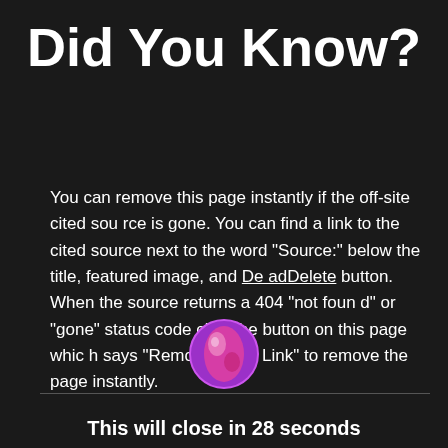Did You Know?
You can remove this page instantly if the off-site cited source is gone. You can find a link to the cited source next to the word "Source:" below the title, featured image, and DeadDelete button. When the source returns a 404 "not found" or "gone" status code click the button on this page which says "Remove Dead Link" to remove the page instantly.
[Figure (logo): Circular logo with a magenta/pink globe or earth-like icon on a purple background]
This will close in 28 seconds